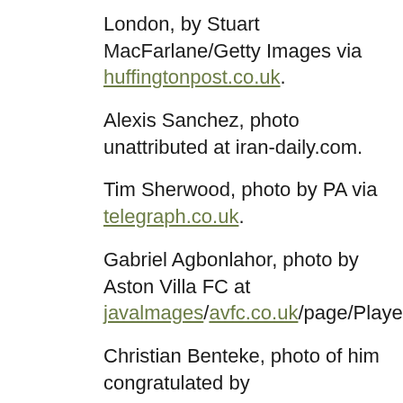London, by Stuart MacFarlane/Getty Images via huffingtonpost.co.uk. Alexis Sanchez, photo unattributed at iran-daily.com. Tim Sherwood, photo by PA via telegraph.co.uk. Gabriel Agbonlahor, photo by Aston Villa FC at javalmages/avfc.co.uk/page/PlayerProfiles. Christian Benteke, photo of him congratulated by